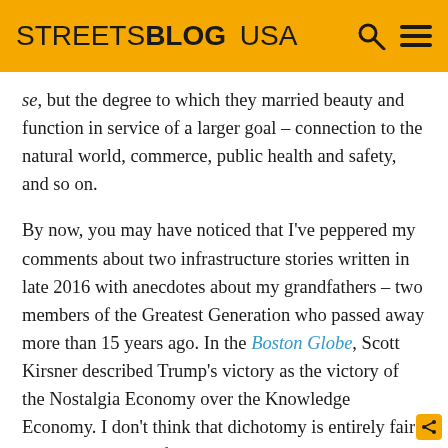STREETSBLOG USA
se, but the degree to which they married beauty and function in service of a larger goal – connection to the natural world, commerce, public health and safety, and so on.
By now, you may have noticed that I've peppered my comments about two infrastructure stories written in late 2016 with anecdotes about my grandfathers – two members of the Greatest Generation who passed away more than 15 years ago. In the Boston Globe, Scott Kirsner described Trump's victory as the victory of the Nostalgia Economy over the Knowledge Economy. I don't think that dichotomy is entirely fair or even all that useful – Nostalgia Economy jobs are still jobs that pay and provide meaning to workers